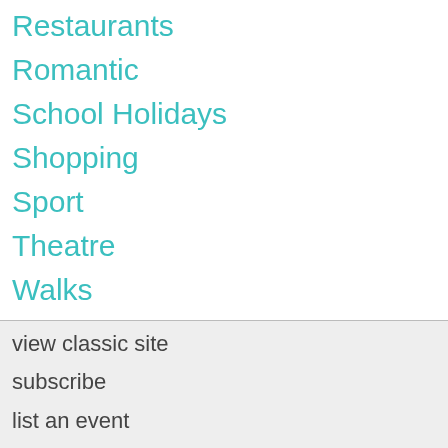Restaurants
Romantic
School Holidays
Shopping
Sport
Theatre
Walks
Win Stuff
view classic site
subscribe
list an event